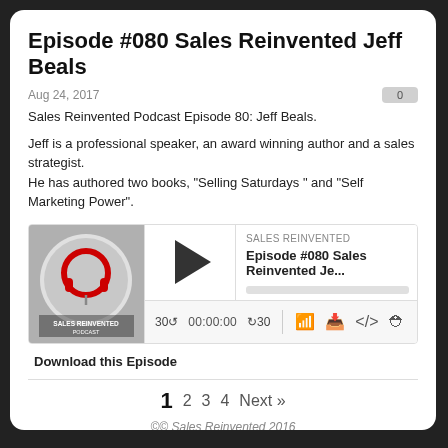Episode #080 Sales Reinvented Jeff Beals
Aug 24, 2017
Sales Reinvented Podcast Episode 80: Jeff Beals.
Jeff is a professional speaker, an award winning author and a sales strategist. He has authored two books, "Selling Saturdays " and "Self Marketing Power".
[Figure (screenshot): Podcast audio player widget for Sales Reinvented Episode #080 Sales Reinvented Je... with play button, time 00:00:00, skip controls 30 seconds back and forward, and icons for RSS, download, embed code, and settings.]
Download this Episode
1  2  3  4  Next »
©© Sales Reinvented 2016